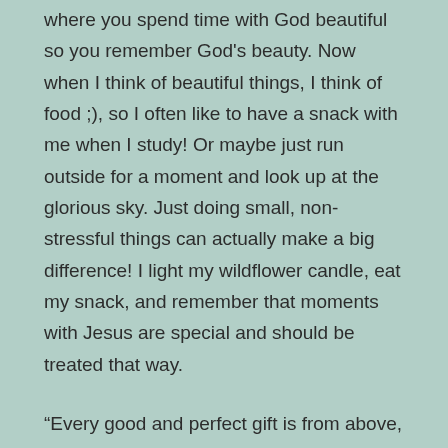where you spend time with God beautiful so you remember God's beauty. Now when I think of beautiful things, I think of food ;), so I often like to have a snack with me when I study! Or maybe just run outside for a moment and look up at the glorious sky. Just doing small, non-stressful things can actually make a big difference! I light my wildflower candle, eat my snack, and remember that moments with Jesus are special and should be treated that way.
“Every good and perfect gift is from above, coming down from the Father of the heavenly lights, who does not change like shifting shadows. He chose to give us birth through the word of truth, that we might be a kind of